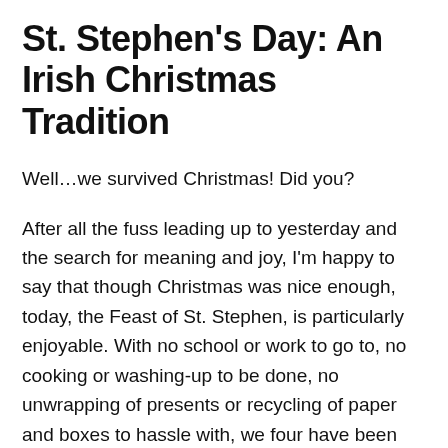St. Stephen's Day: An Irish Christmas Tradition
Well…we survived Christmas! Did you?
After all the fuss leading up to yesterday and the search for meaning and joy, I'm happy to say that though Christmas was nice enough, today, the Feast of St. Stephen, is particularly enjoyable. With no school or work to go to, no cooking or washing-up to be done, no unwrapping of presents or recycling of paper and boxes to hassle with, we four have been free to enjoy whatever we want. Ahh, the bliss of it!
Our day started with a walk and it is ending with a movie. The in-between hours have been taken up with fun stuff like make-up tutorials, manis and pedis {hey, we're almost